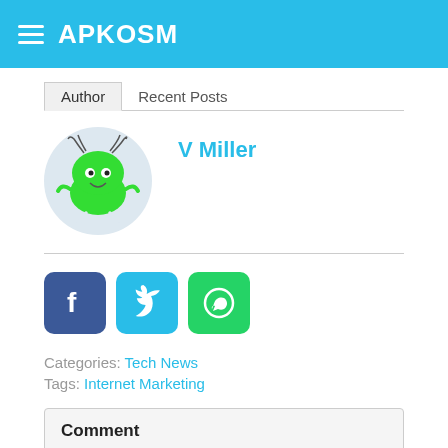APKOSM
Author | Recent Posts
V Miller
[Figure (illustration): Green cartoon monster character inside a light blue circle, serving as author avatar]
[Figure (infographic): Social share icons: Facebook (blue), Twitter (light blue), WhatsApp (green)]
Categories: Tech News
Tags: Internet Marketing
Comment